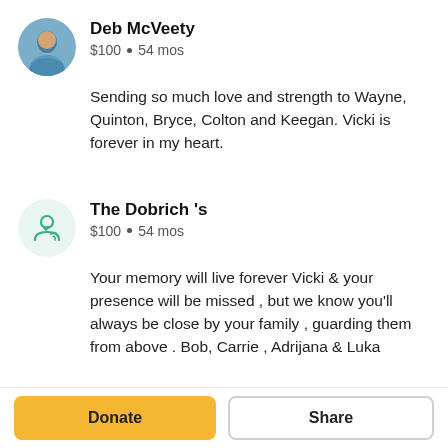Deb McVeety
$100 • 54 mos
Sending so much love and strength to Wayne, Quinton, Bryce, Colton and Keegan. Vicki is forever in my heart.
The Dobrich 's
$100 • 54 mos
Your memory will live forever Vicki & your presence will be missed , but we know you'll always be close by your family , guarding them from above . Bob, Carrie , Adrijana & Luka
Donate
Share